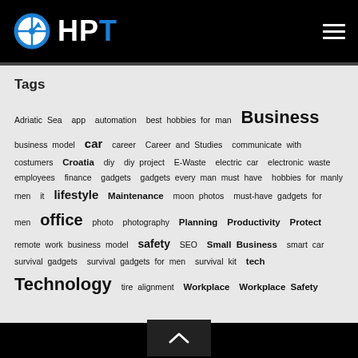[Figure (logo): HPT website header with circular blue/white logo icon and HPT text in white with blue T, hamburger menu icon on right, black background]
Tags
Adriatic Sea app automation best hobbies for man Business business model car career Career and Studies communicate with costumers Croatia diy diy project E-Waste electric car electronic waste employees finance gadgets gadgets every man must have hobbies for manly men it lifestyle Maintenance moon photos must-have gadgets for men office photo photography Planning Productivity Protect remote work business model safety SEO Small Business smart car survival gadgets survival gadgets for men survival kit tech Technology tire alignment Workplace Workplace Safety